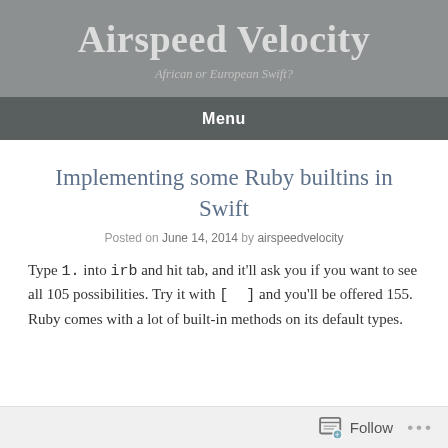Airspeed Velocity
African or European Swift?
Menu
Implementing some Ruby builtins in Swift
Posted on June 14, 2014 by airspeedvelocity
Type 1. into irb and hit tab, and it'll ask you if you want to see all 105 possibilities. Try it with [  ] and you'll be offered 155. Ruby comes with a lot of built-in methods on its default types.
Follow ...